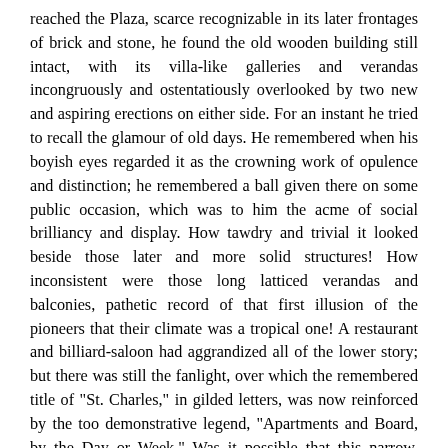reached the Plaza, scarce recognizable in its later frontages of brick and stone, he found the old wooden building still intact, with its villa-like galleries and verandas incongruously and ostentatiously overlooked by two new and aspiring erections on either side. For an instant he tried to recall the glamour of old days. He remembered when his boyish eyes regarded it as the crowning work of opulence and distinction; he remembered a ball given there on some public occasion, which was to him the acme of social brilliancy and display. How tawdry and trivial it looked beside those later and more solid structures! How inconsistent were those long latticed verandas and balconies, pathetic record of that first illusion of the pioneers that their climate was a tropical one! A restaurant and billiard-saloon had aggrandized all of the lower story; but there was still the fanlight, over which the remembered title of "St. Charles," in gilded letters, was now reinforced by the too demonstrative legend, "Apartments and Board, by the Day or Week." Was it possible that this narrow, creaking staircase had once seemed to him the broad steps of Fame and Fortune? On the first landing, a preoccupied Irish servant-girl, with a mop, directed him to a door at the end of the passage, at which he knocked. The door was opened by